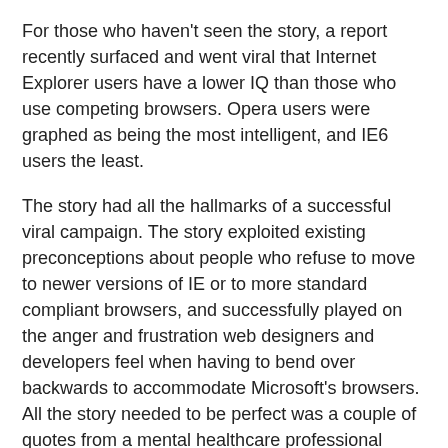For those who haven't seen the story, a report recently surfaced and went viral that Internet Explorer users have a lower IQ than those who use competing browsers. Opera users were graphed as being the most intelligent, and IE6 users the least.
The story had all the hallmarks of a successful viral campaign. The story exploited existing preconceptions about people who refuse to move to newer versions of IE or to more standard compliant browsers, and successfully played on the anger and frustration web designers and developers feel when having to bend over backwards to accommodate Microsoft's browsers. All the story needed to be perfect was a couple of quotes from a mental healthcare professional working in Minnesota.
Photo of the Mayo Clinic by Nephron on Wikimedia Commons